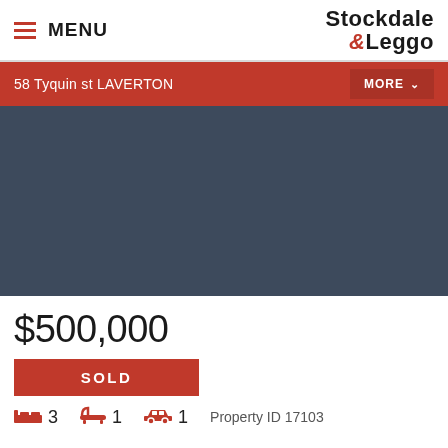MENU | Stockdale & Leggo
58 Tyquin st LAVERTON | MORE
[Figure (photo): Dark blue-grey property image placeholder area]
$500,000
SOLD
3 bedrooms  1 bathroom  1 car  Property ID 17103